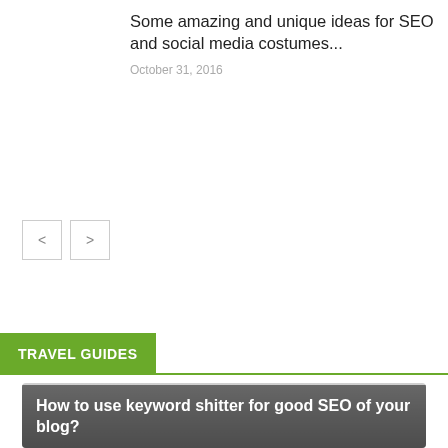Some amazing and unique ideas for SEO and social media costumes...
October 31, 2016
TRAVEL GUIDES
[Figure (photo): Greyscale/gradient card image with overlay text reading 'How to use keyword shitter for good SEO of your blog?']
How to use keyword shitter for good SEO of your blog?